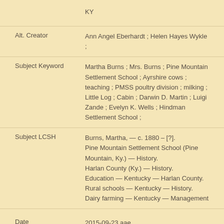KY
Alt. Creator
Ann Angel Eberhardt ; Helen Hayes Wykle ;
Subject Keyword
Martha Burns ; Mrs. Burns ; Pine Mountain Settlement School ; Ayrshire cows ; teaching ; PMSS poultry division ; milking ; Little Log ; Cabin ; Darwin D. Martin ; Luigi Zande ; Evelyn K. Wells ; Hindman Settlement School ;
Subject LCSH
Burns, Martha, — c. 1880 – [?].
Pine Mountain Settlement School (Pine Mountain, Ky.) — History.
Harlan County (Ky.) — History.
Education — Kentucky — Harlan County.
Rural schools — Kentucky — History.
Dairy farming — Kentucky — Management
Date
2015-09-23 aae